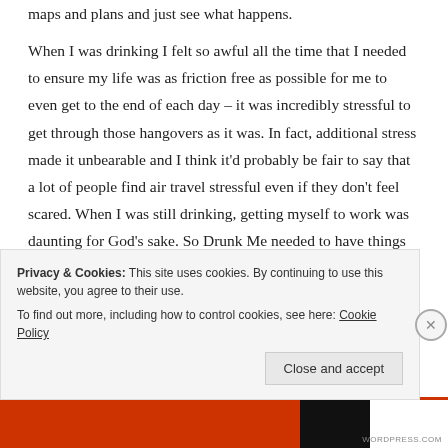maps and plans and just see what happens.
When I was drinking I felt so awful all the time that I needed to ensure my life was as friction free as possible for me to even get to the end of each day – it was incredibly stressful to get through those hangovers as it was. In fact, additional stress made it unbearable and I think it'd probably be fair to say that a lot of people find air travel stressful even if they don't feel scared. When I was still drinking, getting myself to work was daunting for God's sake. So Drunk Me needed to have things in place to make sure that I could navigate all the things I
Privacy & Cookies: This site uses cookies. By continuing to use this website, you agree to their use.
To find out more, including how to control cookies, see here: Cookie Policy
Close and accept